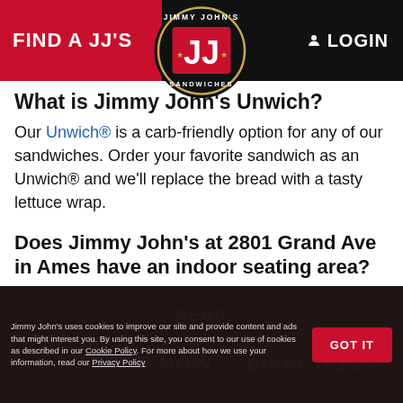FIND A JJ'S   LOGIN
[Figure (logo): Jimmy John's Sandwiches circular logo with red JJ letters on black background with stars]
What is Jimmy John's Unwich?
Our Unwich® is a carb-friendly option for any of our sandwiches. Order your favorite sandwich as an Unwich® and we'll replace the bread with a tasty lettuce wrap.
Does Jimmy John's at 2801 Grand Ave in Ames have an indoor seating area?
Yes, your local Jimmy John's does have an indoor seating area.
MENU  ORDER NOW  DIRECTIONS
Jimmy John's uses cookies to improve our site and provide content and ads that might interest you. By using this site, you consent to our use of cookies as described in our Cookie Policy. For more about how we use your information, read our Privacy Policy.